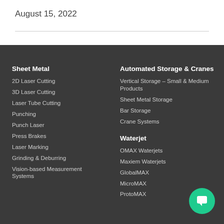August 15, 2022
Sheet Metal
2D Laser Cutting
3D Laser Cutting
Laser Tube Cutting
Punching
Punch Laser
Press Brakes
Laser Marking
Grinding & Deburring
Vision-based Measurement Systems
Automated Storage & Cranes
Vertical Storage – Small & Medium Products
Sheet Metal Storage
Bar Storage
Crane Systems
Waterjet
OMAX Waterjets
Maxiem Waterjets
GlobalMAX
MicroMAX
ProtoMAX